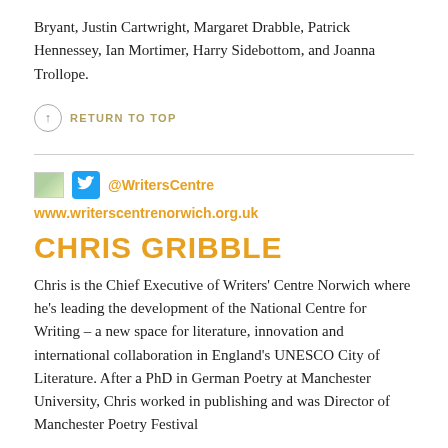Bryant, Justin Cartwright, Margaret Drabble, Patrick Hennessey, Ian Mortimer, Harry Sidebottom, and Joanna Trollope.
↑ RETURN TO TOP
@WritersCentre
www.writerscentrenorwich.org.uk
CHRIS GRIBBLE
Chris is the Chief Executive of Writers' Centre Norwich where he's leading the development of the National Centre for Writing – a new space for literature, innovation and international collaboration in England's UNESCO City of Literature. After a PhD in German Poetry at Manchester University, Chris worked in publishing and was Director of Manchester Poetry Festival